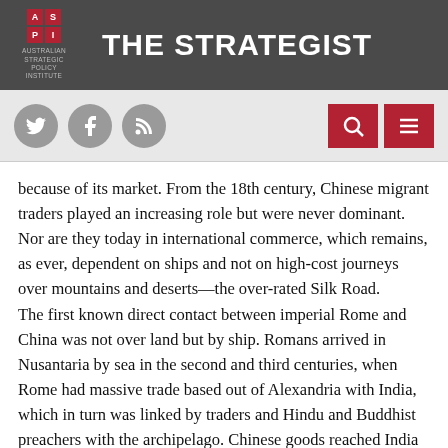THE STRATEGIST — Australian Strategic Policy Institute
[Figure (screenshot): Navigation bar with social media icons (Twitter, Facebook, RSS) and search/menu buttons]
because of its market. From the 18th century, Chinese migrant traders played an increasing role but were never dominant. Nor are they today in international commerce, which remains, as ever, dependent on ships and not on high-cost journeys over mountains and deserts—the over-rated Silk Road.
The first known direct contact between imperial Rome and China was not over land but by ship. Romans arrived in Nusantaria by sea in the second and third centuries, when Rome had massive trade based out of Alexandria with India, which in turn was linked by traders and Hindu and Buddhist preachers with the archipelago. Chinese goods reached India and beyond via the archipelago or the Kra isthmus. Chinese monks visited Sumatra, where Buddhism was thriving, but the traders and sailors were not Chinese. Fast-forward to the Tang